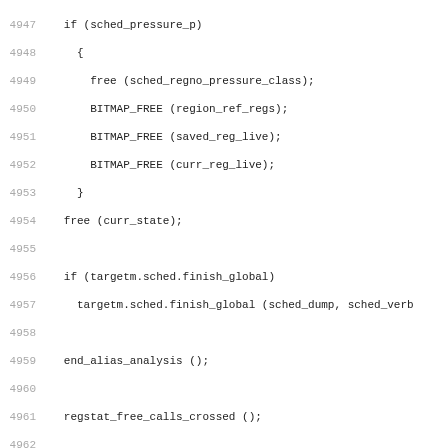Code listing lines 4947-4978 showing C source code for scheduler and delay pair handling functions